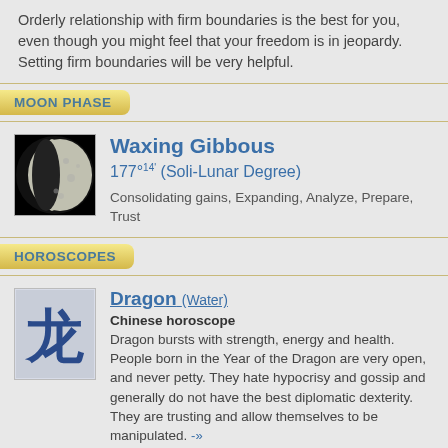Orderly relationship with firm boundaries is the best for you, even though you might feel that your freedom is in jeopardy. Setting firm boundaries will be very helpful.
MOON PHASE
[Figure (photo): Waxing gibbous moon phase photograph showing a mostly lit moon on a black background]
Waxing Gibbous
177°14' (Soli-Lunar Degree)
Consolidating gains, Expanding, Analyze, Prepare, Trust
HOROSCOPES
[Figure (illustration): Chinese character for Dragon (龙) in blue ink style on light blue background]
Dragon (Water)
Chinese horoscope
Dragon bursts with strength, energy and health. People born in the Year of the Dragon are very open, and never petty. They hate hypocrisy and gossip and generally do not have the best diplomatic dexterity. They are trusting and allow themselves to be manipulated. -»